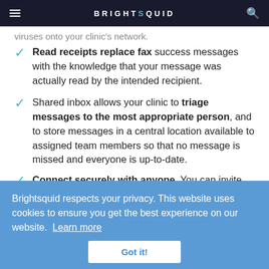BRIGHTSQUID
viruses onto your clinic's network.
Read receipts replace fax success messages with the knowledge that your message was actually read by the intended recipient.
Shared inbox allows your clinic to triage messages to the most appropriate person, and to store messages in a central location available to assigned team members so that no message is missed and everyone is up-to-date.
Connect securely with anyone. You can invite any other clinic, clinician, or patient to communicate with you for free. And you can copy as many members of a
Brightsquid respects your privacy. This website uses cookies to ensure you get the best experience on our website. Learn more
Got it!